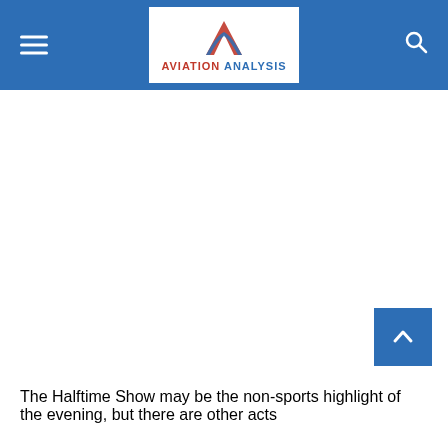AVIATION ANALYSIS
[Figure (logo): Aviation Analysis logo with stylized letter A in red and blue]
The Halftime Show may be the non-sports highlight of the evening, but there are other acts